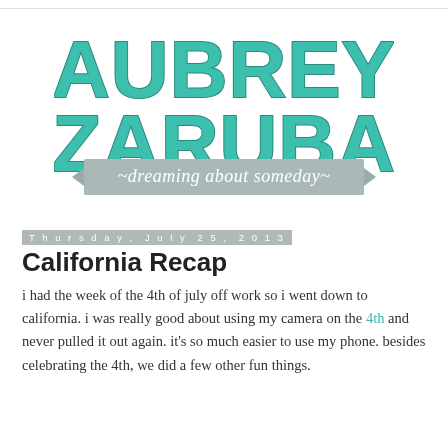[Figure (logo): Aubrey Zaruba blog logo with teal block letters and gray banner reading '~dreaming about someday~']
Thursday, July 25, 2013
California Recap
i had the week of the 4th of july off work so i went down to california. i was really good about using my camera on the 4th and never pulled it out again. it's so much easier to use my phone. besides celebrating the 4th, we did a few other fun things.